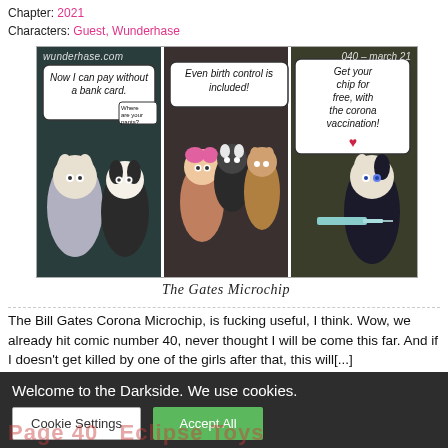Chapter: 2021
Characters: Guest, Wunderhase
[Figure (illustration): Three-panel furry webcomic strip titled 'The Gates Microchip'. Panel 1: Two anthropomorphic animals at a payment terminal, speech bubble 'Now I can pay without a bank card.' and small bubble 'Where are your pants?'. Panel 2: Three anthropomorphic characters, speech bubble 'Even birth control is included!'. Panel 3: Anthropomorphic character holding a syringe, speech bubble 'Get your chip for free, with the corona vaccination!' with a red heart. Watermarks: 'wunderhase.com' left, '040 - march 21' right.]
The Gates Microchip
The Bill Gates Corona Microchip, is fucking useful, I think. Wow, we already hit comic number 40, never thought I will be come this far. And if I doesn't get killed by one of the girls after that, this will[...]
↓ Lese den Rest dieses Eintrags …
Kommentar
Welcome to the Darkside. We use cookies.
Cookie Settings
Accept All
Page 40 Eclipse Toys